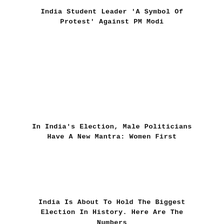India Student Leader 'A Symbol Of Protest' Against PM Modi
In India's Election, Male Politicians Have A New Mantra: Women First
India Is About To Hold The Biggest Election In History. Here Are The Numbers